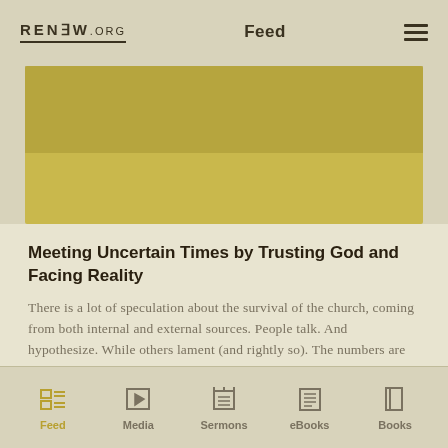RENEW.org  Feed
[Figure (illustration): Golden/mustard colored banner image placeholder]
Meeting Uncertain Times by Trusting God and Facing Reality
There is a lot of speculation about the survival of the church, coming from both internal and external sources. People talk. And hypothesize. While others lament (and rightly so). The numbers are troubling. The Gallup Poll reported a decline in American...
Feed  Media  Sermons  eBooks  Books